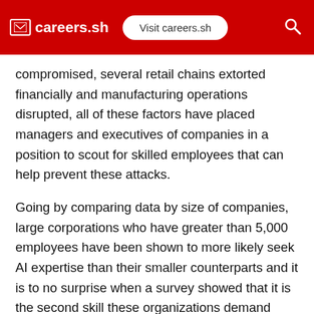careers.sh | Visit careers.sh
compromised, several retail chains extorted financially and manufacturing operations disrupted, all of these factors have placed managers and executives of companies in a position to scout for skilled employees that can help prevent these attacks.
Going by comparing data by size of companies, large corporations who have greater than 5,000 employees have been shown to more likely seek AI expertise than their smaller counterparts and it is to no surprise when a survey showed that it is the second skill these organizations demand after security know-how. In 2019, there is a great projection that job outlook is promising for IT employees. This projection has thrown many IT